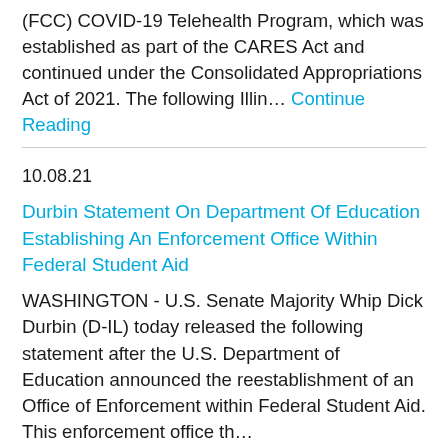(FCC) COVID-19 Telehealth Program, which was established as part of the CARES Act and continued under the Consolidated Appropriations Act of 2021. The following Illin… Continue Reading
10.08.21
Durbin Statement On Department Of Education Establishing An Enforcement Office Within Federal Student Aid
WASHINGTON - U.S. Senate Majority Whip Dick Durbin (D-IL) today released the following statement after the U.S. Department of Education announced the reestablishment of an Office of Enforcement within Federal Student Aid. This enforcement office th...